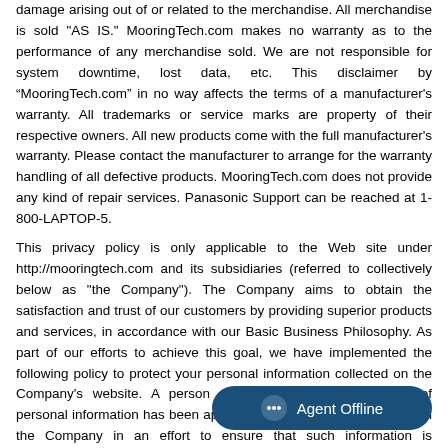damage arising out of or related to the merchandise. All merchandise is sold "AS IS." MooringTech.com makes no warranty as to the performance of any merchandise sold. We are not responsible for system downtime, lost data, etc. This disclaimer by “MooringTech.com” in no way affects the terms of a manufacturer's warranty. All trademarks or service marks are property of their respective owners. All new products come with the full manufacturer's warranty. Please contact the manufacturer to arrange for the warranty handling of all defective products. MooringTech.com does not provide any kind of repair services. Panasonic Support can be reached at 1-800-LAPTOP-5.
This privacy policy is only applicable to the Web site under http://mooringtech.com and its subsidiaries (referred to collectively below as "the Company"). The Company aims to obtain the satisfaction and trust of our customers by providing superior products and services, in accordance with our Basic Business Philosophy. As part of our efforts to achieve this goal, we have implemented the following policy to protect your personal information collected on the Company's website. A person responsible for the protection of personal information has been appointed to every organization within the Company in an effort to ensure that such information is managed appropriately. Whenever you are asked to supply or register your personal information by which you can be identified, such as name, address, e-mail address, or